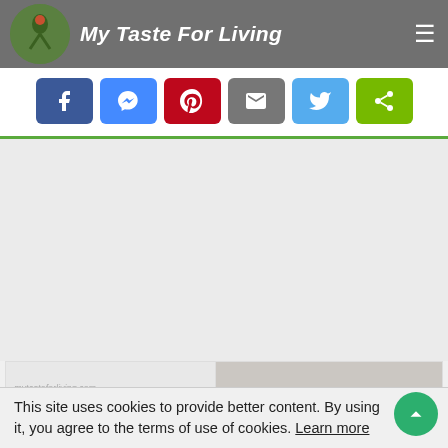My Taste For Living
[Figure (screenshot): Social share buttons row: Facebook, Messenger, Pinterest, Email, Twitter, Share]
[Figure (screenshot): Large empty gray area (advertisement or content placeholder)]
[Figure (screenshot): Bottom image preview strip showing mytasteforliving.com watermark and partial food photo]
This site uses cookies to provide better content. By using it, you agree to the terms of use of cookies. Learn more